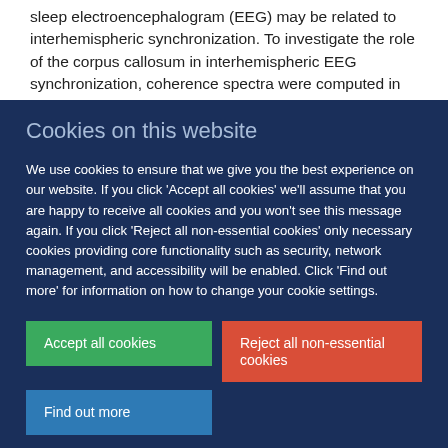sleep electroencephalogram (EEG) may be related to interhemispheric synchronization. To investigate the role of the corpus callosum in interhemispheric EEG synchronization, coherence spectra were computed in mice with congenital callosal dysgenesis (B1) under baseline conditions and after
Cookies on this website
We use cookies to ensure that we give you the best experience on our website. If you click 'Accept all cookies' we'll assume that you are happy to receive all cookies and you won't see this message again. If you click 'Reject all non-essential cookies' only necessary cookies providing core functionality such as security, network management, and accessibility will be enabled. Click 'Find out more' for information on how to change your cookie settings.
Accept all cookies
Reject all non-essential cookies
Find out more